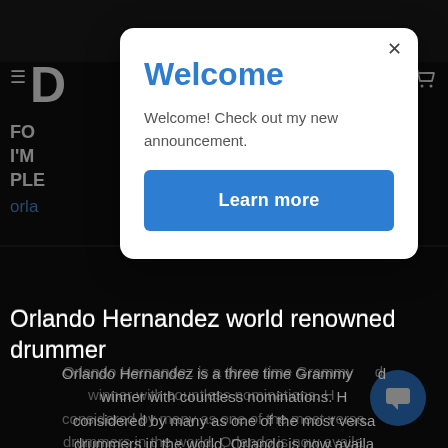[Figure (screenshot): Dark website background showing a drummer's website for Orlando Hernandez. Navigation bar with hamburger menu, logo 'D', and cart icon visible. Partially visible text including 'FOR', 'I'M', 'PLE', and a blue link starting with 'orla'. Below the modal, a section title 'Orlando Hernandez world renowned drummer' and body text about being a three time Grammy winner.]
Welcome
Welcome! Check out my new announcement.
Learn more
Orlando Hernandez world renowned drummer
Orlando Hernandez is a three time Grammy winner with countless nominations. He is considered by many as one of the most versatile drummers in the world. Orlando is now available